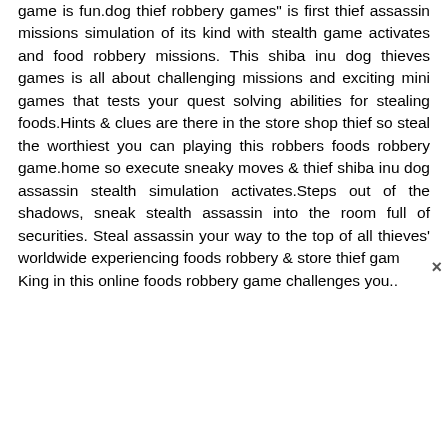game is fun.dog thief robbery games" is first thief assassin missions simulation of its kind with stealth game activates and food robbery missions. This shiba inu dog thieves games is all about challenging missions and exciting mini games that tests your quest solving abilities for stealing foods.Hints & clues are there in the store shop thief so steal the worthiest you can playing this robbers foods robbery game.home so execute sneaky moves & thief shiba inu dog assassin stealth simulation activates.Steps out of the shadows, sneak stealth assassin into the room full of securities. Steal assassin your way to the top of all thieves' worldwide experiencing foods robbery & store thief gam King in this online foods robbery game challenges you...